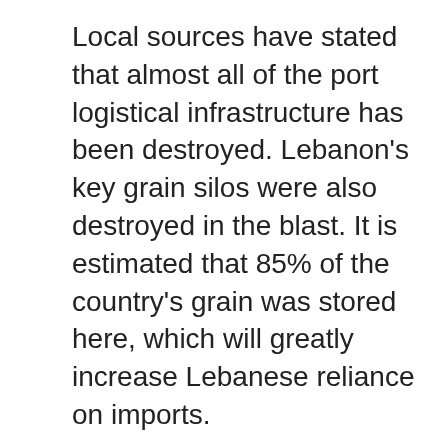Local sources have stated that almost all of the port logistical infrastructure has been destroyed. Lebanon's key grain silos were also destroyed in the blast. It is estimated that 85% of the country's grain was stored here, which will greatly increase Lebanese reliance on imports.